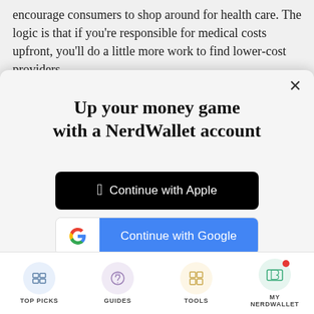encourage consumers to shop around for health care. The logic is that if you're responsible for medical costs upfront, you'll do a little more work to find lower-cost providers.
[Figure (screenshot): NerdWallet modal popup with sign-in options]
Up your money game with a NerdWallet account
Continue with Apple
Continue with Google
or continue with email
By signing up, I agree to NerdWallet's Terms of Service and Privacy Policy.
TOP PICKS | GUIDES | TOOLS | MY NERDWALLET